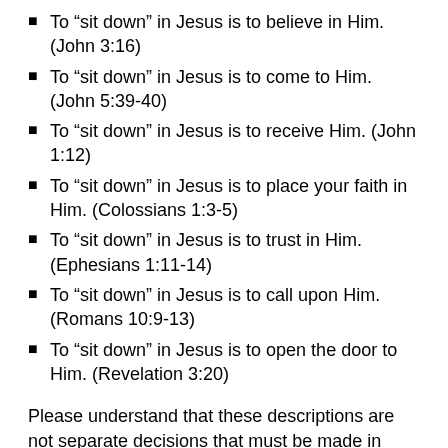To “sit down” in Jesus is to believe in Him. (John 3:16)
To “sit down” in Jesus is to come to Him. (John 5:39-40)
To “sit down” in Jesus is to receive Him. (John 1:12)
To “sit down” in Jesus is to place your faith in Him. (Colossians 1:3-5)
To “sit down” in Jesus is to trust in Him. (Ephesians 1:11-14)
To “sit down” in Jesus is to call upon Him. (Romans 10:9-13)
To “sit down” in Jesus is to open the door to Him. (Revelation 3:20)
Please understand that these descriptions are not separate decisions that must be made in regards to Christ. They aren’t different stages of belief, either, as if an individual has to complete them all in order to reach the